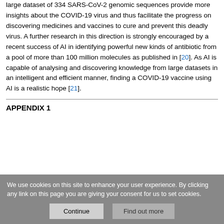large dataset of 334 SARS-CoV-2 genomic sequences provide more insights about the COVID-19 virus and thus facilitate the progress on discovering medicines and vaccines to cure and prevent this deadly virus. A further research in this direction is strongly encouraged by a recent success of AI in identifying powerful new kinds of antibiotic from a pool of more than 100 million molecules as published in [20]. As AI is capable of analysing and discovering knowledge from large datasets in an intelligent and efficient manner, finding a COVID-19 vaccine using AI is a realistic hope [21].
APPENDIX 1